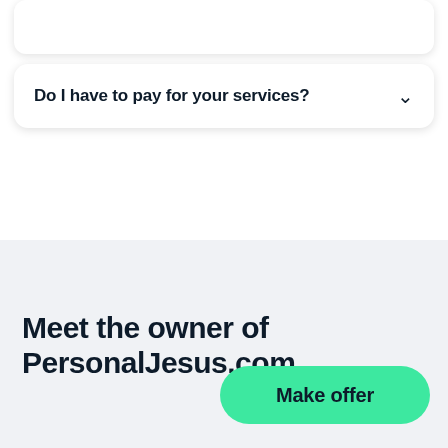Do I have to pay for your services?
Meet the owner of PersonalJesus.com
Make offer